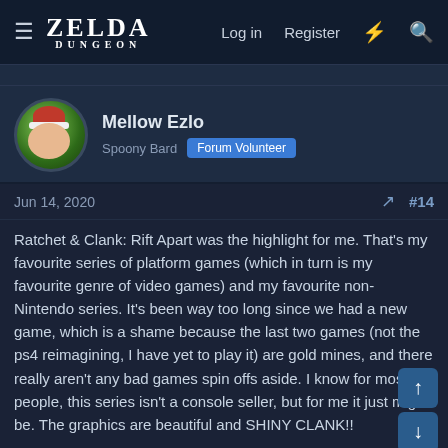ZELDA DUNGEON — Log in  Register
Mellow Ezlo
Spoony Bard  Forum Volunteer
Jun 14, 2020  #14
Ratchet & Clank: Rift Apart was the highlight for me. That's my favourite series of platform games (which in turn is my favourite genre of video games) and my favourite non-Nintendo series. It's been way too long since we had a new game, which is a shame because the last two games (not the ps4 reimagining, I have yet to play it) are gold mines, and there really aren't any bad games spin offs aside. I know for most people, this series isn't a console seller, but for me it just might be. The graphics are beautiful and SHINY CLANK!!
I was also very intrigued by the new Spider-Man, the Sackboy game (Little Big Planet was an adorable and fun little game that